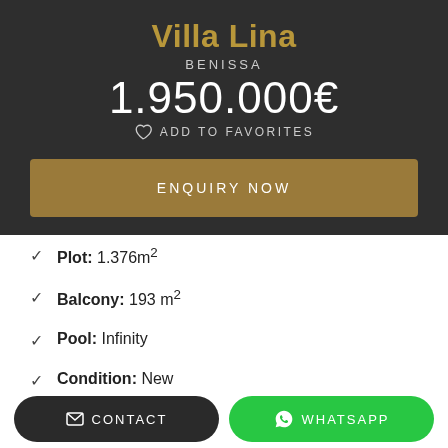Villa Lina
BENISSA
1.950.000€
ADD TO FAVORITES
ENQUIRY NOW
Plot: 1.376m²
Balcony: 193 m²
Pool: Infinity
Condition: New
CONTACT
WHATSAPP